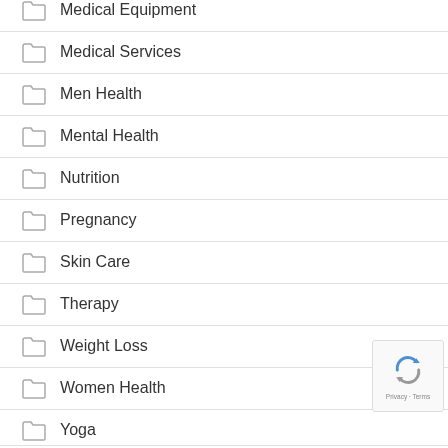Medical Equipment
Medical Services
Men Health
Mental Health
Nutrition
Pregnancy
Skin Care
Therapy
Weight Loss
Women Health
Yoga